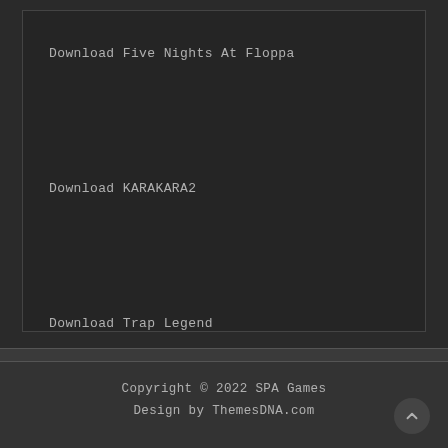Download Five Nights At Floppa
Download KARAKARA2
Download Trap Legend
Copyright © 2022 SPA Games
Design by ThemesDNA.com